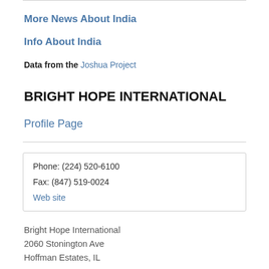More News About India
Info About India
Data from the Joshua Project
BRIGHT HOPE INTERNATIONAL
Profile Page
Phone: (224) 520-6100
Fax: (847) 519-0024
Web site
Bright Hope International
2060 Stonington Ave
Hoffman Estates, IL